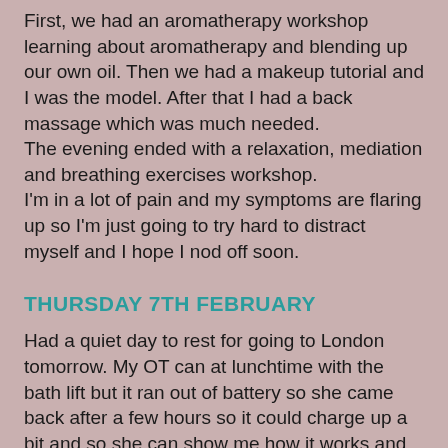First, we had an aromatherapy workshop learning about aromatherapy and blending up our own oil. Then we had a makeup tutorial and I was the model. After that I had a back massage which was much needed.
The evening ended with a relaxation, mediation and breathing exercises workshop.
I'm in a lot of pain and my symptoms are flaring up so I'm just going to try hard to distract myself and I hope I nod off soon.
THURSDAY 7TH FEBRUARY
Had a quiet day to rest for going to London tomorrow. My OT can at lunchtime with the bath lift but it ran out of battery so she came back after a few hours so it could charge up a bit and so she can show me how it works and so I can give it a go.